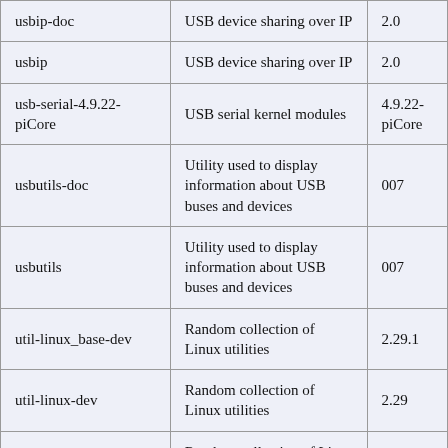| usbip-doc | USB device sharing over IP | 2.0 |
| usbip | USB device sharing over IP | 2.0 |
| usb-serial-4.9.22-piCore | USB serial kernel modules | 4.9.22-piCore |
| usbutils-doc | Utility used to display information about USB buses and devices | 007 |
| usbutils | Utility used to display information about USB buses and devices | 007 |
| util-linux_base-dev | Random collection of Linux utilities | 2.29.1 |
| util-linux-dev | Random collection of Linux utilities | 2.29 |
| … | Random collection of Li… | … |